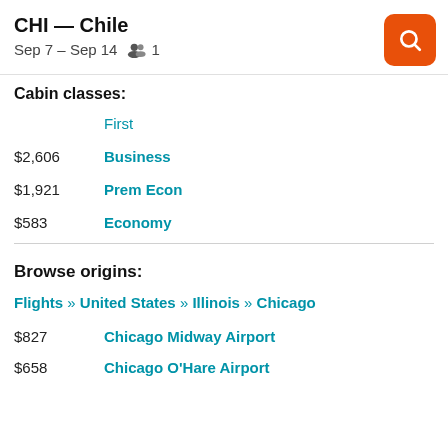CHI — Chile
Sep 7 – Sep 14   👥 1
Cabin classes:
First
$2,606   Business
$1,921   Prem Econ
$583   Economy
Browse origins:
Flights » United States » Illinois » Chicago
$827   Chicago Midway Airport
$658   Chicago O'Hare Airport